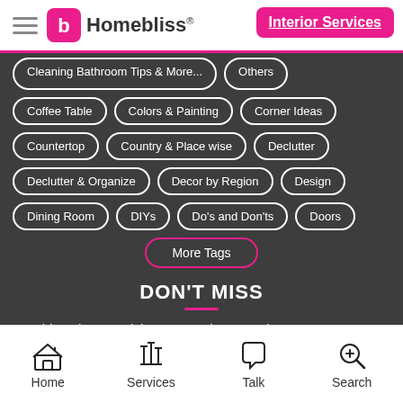Homebliss® Interior Services
Coffee Table
Colors & Painting
Corner Ideas
Countertop
Country & Place wise
Declutter
Declutter & Organize
Decor by Region
Design
Dining Room
DIYs
Do's and Don'ts
Doors
More Tags
DON'T MISS
Things in Your Living Room That Are Dirt-Magnets!
Home  Services  Talk  Search